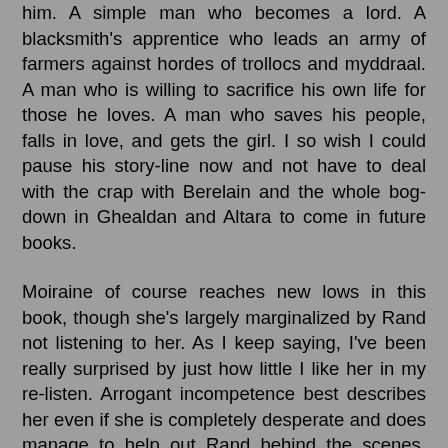him. A simple man who becomes a lord. A blacksmith's apprentice who leads an army of farmers against hordes of trollocs and myddraal. A man who is willing to sacrifice his own life for those he loves. A man who saves his people, falls in love, and gets the girl. I so wish I could pause his story-line now and not have to deal with the crap with Berelain and the whole bog-down in Ghealdan and Altara to come in future books.
Moiraine of course reaches new lows in this book, though she's largely marginalized by Rand not listening to her. As I keep saying, I've been really surprised by just how little I like her in my re-listen. Arrogant incompetence best describes her even if she is completely desperate and does manage to help out Rand behind the scenes. Egwene continues to become more intolerable in her own arrogance. Such an adolescent child.
I've also become convinced that one of the questions that Rand asked the Aelfinn was something like 'How can I learn to channel Saidin?'. Somehow, something or someone let him know that Lanfear and Asmodean were going to come at